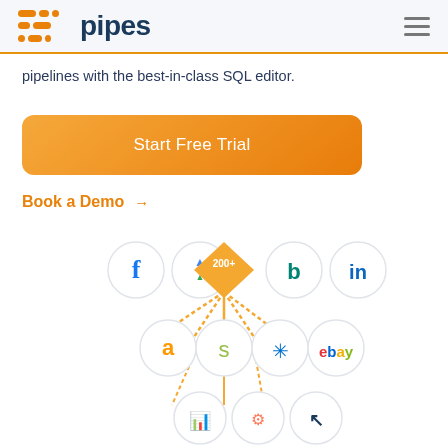pipes
pipelines with the best-in-class SQL editor.
Start Free Trial
Book a Demo →
[Figure (infographic): Integration logos arranged in a triangular/branching pattern: Facebook, Google Ads, 200+ (center orange diamond), Bing, LinkedIn in top row; Amazon, Shopify, Walmart, eBay in middle row; Google Analytics, HubSpot, Netvibes-style logo in bottom row. Orange connecting lines radiate from 200+ badge downward.]